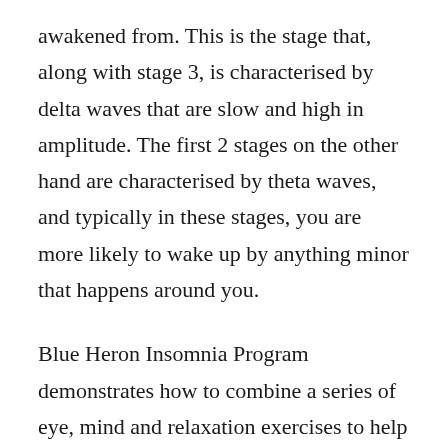awakened from. This is the stage that, along with stage 3, is characterised by delta waves that are slow and high in amplitude. The first 2 stages on the other hand are characterised by theta waves, and typically in these stages, you are more likely to wake up by anything minor that happens around you.
Blue Heron Insomnia Program demonstrates how to combine a series of eye, mind and relaxation exercises to help a person attain stage 4 of the sleep cycle. It also includes a